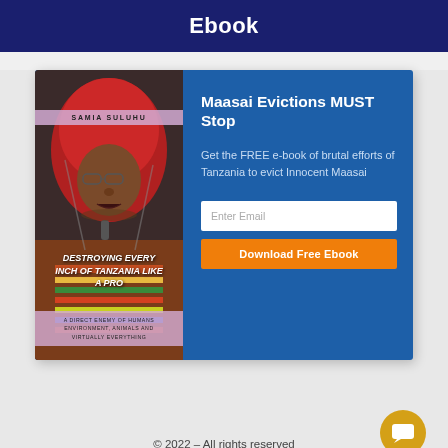Ebook
[Figure (illustration): Ebook promotional card showing book cover with a woman in a red hijab and the right panel with title 'Maasai Evictions MUST Stop', email input, and download button]
Maasai Evictions MUST Stop
Get the FREE e-book of brutal efforts of Tanzania to evict Innocent Maasai
© 2022 – All rights reserved